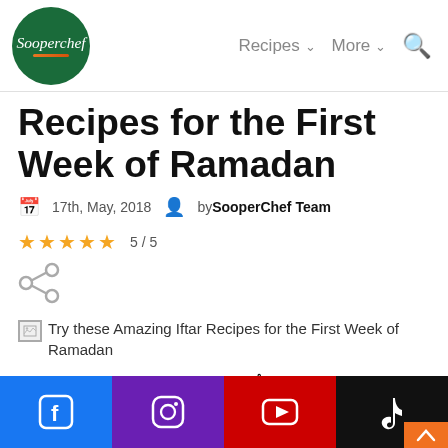[Figure (logo): Sooperchef circular green logo with italic white text and orange underline]
Recipes  More  [search]
Recipes for the First Week of Ramadan
17th, May, 2018  by SooperChef Team  ★★★★★ 5 / 5
[Figure (other): Share icon (grey connected dots)]
[Figure (photo): Try these Amazing Iftar Recipes for the First Week of Ramadan (image placeholder)]
English  اُردُو تُرکیب
[Figure (infographic): Social media bar: Facebook (blue), Instagram (purple), YouTube (red), TikTok (black) icons]